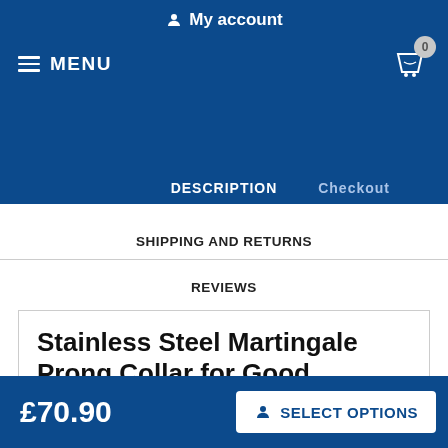My account
DESCRIPTION
Checkout
SHIPPING AND RETURNS
REVIEWS
Stainless Steel Martingale Prong Collar for Good Bulldog Behavior
Do you need to cope with your Bulldog's bad behavior? Try this martingale pinch collar that will help you to teach the dog good manners. Pinch dog collars aren't cruel as the most people thi... Experienced Bulldog trainers use pinch collars for aggressive and
£70.90
SELECT OPTIONS